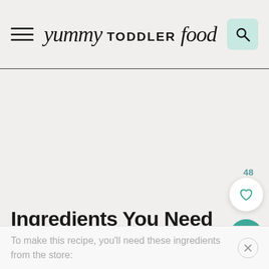yummy TODDLER food
Ingredients You Need
To make this recipe, you'll need these ingredients from the store: